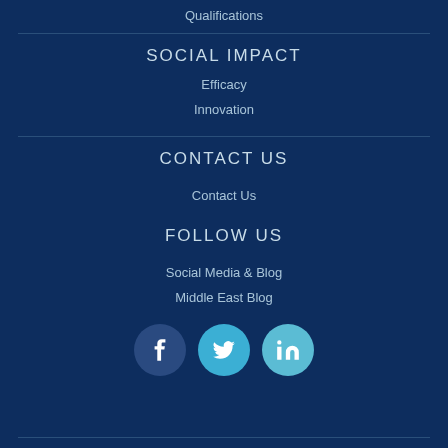Qualifications
SOCIAL IMPACT
Efficacy
Innovation
CONTACT US
Contact Us
FOLLOW US
Social Media & Blog
Middle East Blog
[Figure (infographic): Three social media icon circles: Facebook (dark blue), Twitter (light blue), LinkedIn (light teal)]